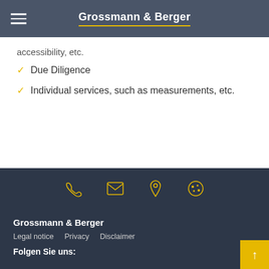Grossmann & Berger
accessibility, etc.
Due Diligence
Individual services, such as measurements, etc.
[Figure (infographic): Icon bar with four yellow outline icons: phone, envelope/email, location pin, cookie]
Grossmann & Berger
Legal notice
Privacy
Disclaimer
Folgen Sie uns: